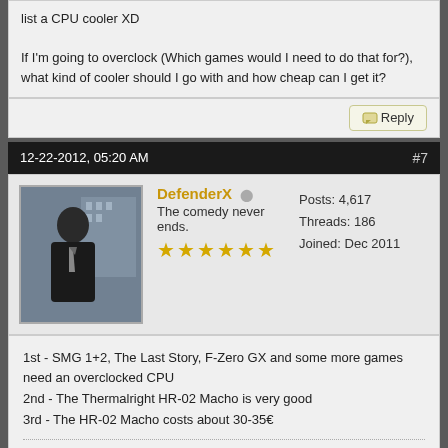If I'm going to overclock (Which games would I need to do that for?), what kind of cooler should I go with and how cheap can I get it?
Reply
12-22-2012, 05:20 AM   #7
DefenderX
The comedy never ends.
Posts: 4,617
Threads: 186
Joined: Dec 2011
1st - SMG 1+2, The Last Story, F-Zero GX and some more games need an overclocked CPU
2nd - The Thermalright HR-02 Macho is very good
3rd - The HR-02 Macho costs about 30-35€
[Figure (illustration): Forum signature image for DefenderX showing blue glowing text 'DEFENDERX' on black background with blue diamond/square shapes scattered around]
Website   Find   Reply